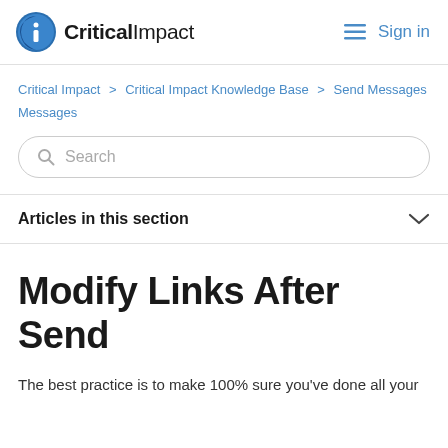CriticalImpact  Sign in
Critical Impact > Critical Impact Knowledge Base > Send Messages
Search
Articles in this section
Modify Links After Send
The best practice is to make 100% sure you've done all your